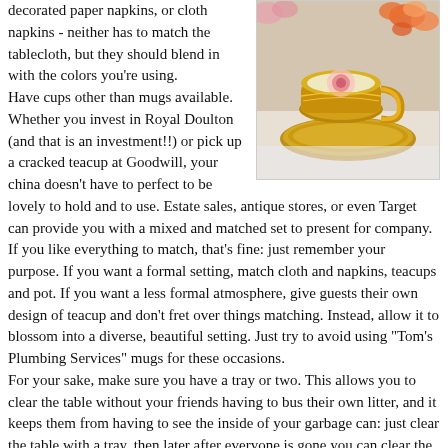decorated paper napkins, or cloth napkins - neither has to match the tablecloth, but they should blend in with the colors you're using. Have cups other than mugs available. Whether you invest in Royal Doulton (and that is an investment!!) or pick up a cracked teacup at Goodwill, your china doesn't have to perfect to be lovely to hold and to use. Estate sales, antique stores, or even Target can provide you with a mixed and matched set to present for company. If you like everything to match, that's fine: just remember your purpose. If you want a formal setting, match cloth and napkins, teacups and pot. If you want a less formal atmosphere, give guests their own design of teacup and don't fret over things matching. Instead, allow it to blossom into a diverse, beautiful setting. Just try to avoid using "Tom's Plumbing Services" mugs for these occasions. For your sake, make sure you have a tray or two. This allows you to clear the table without your friends having to bus their own litter, and it keeps them from having to see the inside of your garbage can: just clear the table with a tray, then later after everyone is gone you can clear the tray and wash the dishes.
[Figure (photo): A decorative teacup and saucer with gold trim and a pink rose design, set against a background of colorful flowers.]